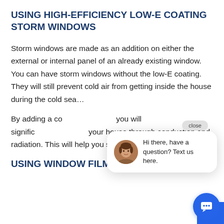USING HIGH-EFFICIENCY LOW-E COATING STORM WINDOWS
Storm windows are made as an addition on either the external or internal panel of an already existing window. You can have storm windows without the low-E coating. They will still prevent cold air from getting inside the house during the cold sea…
By adding a co… you will signific… your house through conduction and radiation. This will help you save on energy consumption.
[Figure (screenshot): Live chat popup widget showing a female avatar and text 'Hi there, have a question? Text us here.' with a close button and blue chat icon button]
USING WINDOW FILMS